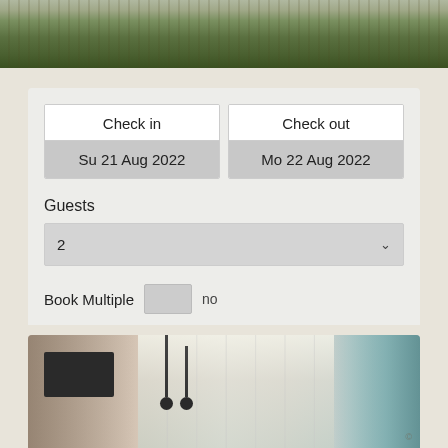[Figure (photo): Top cropped photo of grassy outdoor area with blurred background]
| Check in | Check out |
| --- | --- |
| Su 21 Aug 2022 | Mo 22 Aug 2022 |
Guests
2
Book Multiple   no
[Figure (photo): Hotel room interior with sheer curtains, blue drapes, pendant lights, wall-mounted TV, and warm lighting]